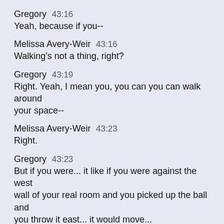Gregory  43:16
Yeah, because if you--
Melissa Avery-Weir  43:16
Walking's not a thing, right?
Gregory  43:19
Right. Yeah, I mean you, you can you can walk around your space--
Melissa Avery-Weir  43:23
Right.
Gregory  43:23
But if you were... it like if you were against the west wall of your real room and you picked up the ball and you throw it east... it would move...
Melissa Avery-Weir  43:31
Yeah, but you wouldn't get more space.
Gregory  43:33
Yeah, you, if you threw it west you wouldn't be able to